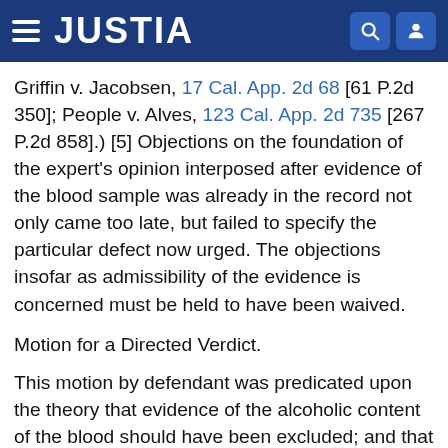JUSTIA
Griffin v. Jacobsen, 17 Cal. App. 2d 68 [61 P.2d 350]; People v. Alves, 123 Cal. App. 2d 735 [267 P.2d 858].) [5] Objections on the foundation of the expert's opinion interposed after evidence of the blood sample was already in the record not only came too late, but failed to specify the particular defect now urged. The objections insofar as admissibility of the evidence is concerned must be held to have been waived.
Motion for a Directed Verdict.
This motion by defendant was predicated upon the theory that evidence of the alcoholic content of the blood should have been excluded; and that without such there would have been insufficient evidence to support a verdict on intoxication, and without evidence of intoxication the isolated act of driving at an excessive